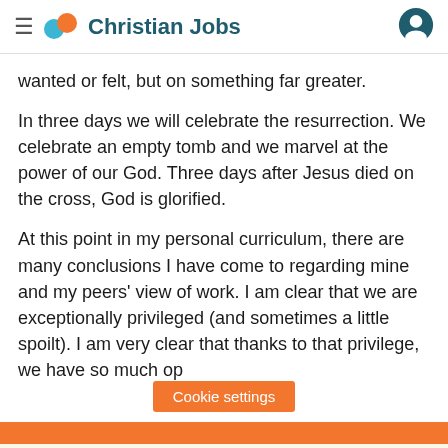Christian Jobs
wanted or felt, but on something far greater.
In three days we will celebrate the resurrection. We celebrate an empty tomb and we marvel at the power of our God. Three days after Jesus died on the cross, God is glorified.
At this point in my personal curriculum, there are many conclusions I have come to regarding mine and my peers' view of work. I am clear that we are exceptionally privileged (and sometimes a little spoilt). I am very clear that thanks to that privilege, we have so much op
Cookie settings
We use cookies on this site to enhance your user experience
By clicking any link on this page you are giving your consent for us to set